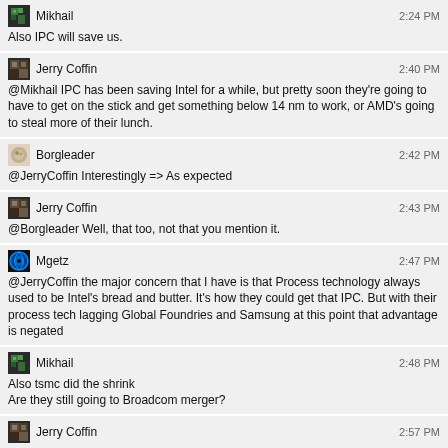Mikhail 2:24 PM
Also IPC will save us.
Jerry Coffin 2:40 PM
@Mikhail IPC has been saving Intel for a while, but pretty soon they're going to have to get on the stick and get something below 14 nm to work, or AMD's going to steal more of their lunch.
Borgleader 2:42 PM
@JerryCoffin Interestingly => As expected
Jerry Coffin 2:43 PM
@Borgleader Well, that too, not that you mention it.
Mgetz 2:47 PM
@JerryCoffin the major concern that I have is that Process technology always used to be Intel's bread and butter. It's how they could get that IPC. But with their process tech lagging Global Foundries and Samsung at this point that advantage is negated
Mikhail 2:48 PM
Also tsmc did the shrink
Are they still going to Broadcom merger?
Jerry Coffin 2:57 PM
@Mgetz Global did a half-shrink, so to speak. Honestly, their shrink from "14 nm" to "12 nm" probably doesn't do much more than achieve close to parity with Intel's "14 nm". For the last decade (or more) nearly everybody else's "nm" has been rather larger than Intel's, so even at the same (claimed) process node, they've still been a bit behind.